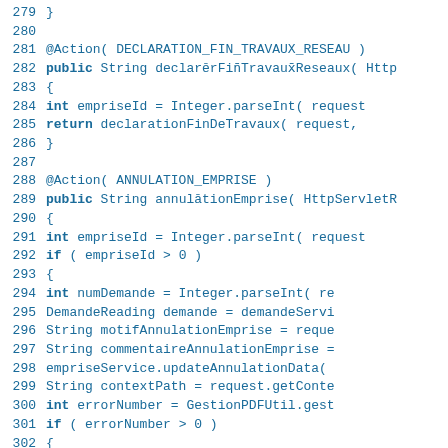Source code listing lines 279-306, Java code with annotations and method definitions including declarerFinTravauxReseaux and annulationEmprise methods.